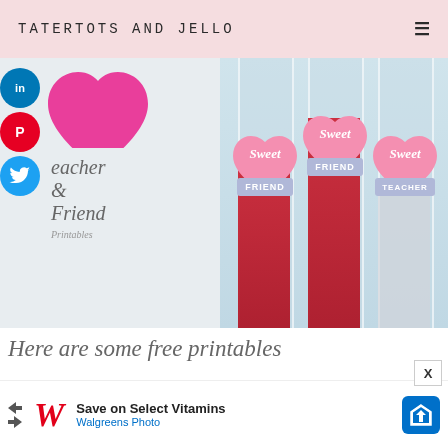TATERTOTS AND JELLO
[Figure (photo): Valentine's Day sweet friend and teacher printable tags on candy-filled glass containers. Left side shows pink heart graphic with cursive 'eacher & Friend Printables' text with social sharing circles (LinkedIn, Pinterest, Twitter). Right side shows three tall glass tubes filled with red candy, each tagged with heart-shaped 'Sweet FRIEND' or 'Sweet TEACHER' labels in pink and lavender.]
Here are some free printables
[Figure (screenshot): Walgreens advertisement banner: 'Save on Select Vitamins' with Walgreens Photo logo and blue diamond navigation icon]